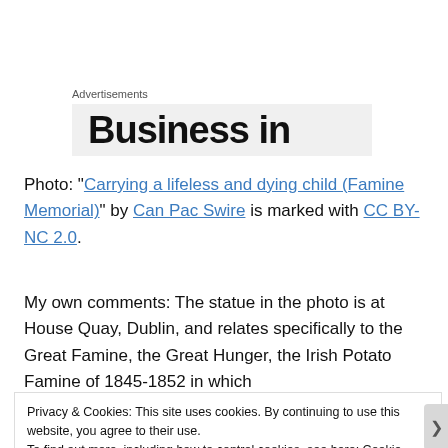Advertisements
[Figure (other): Partial advertisement banner showing 'Business in' text cropped]
Photo: "Carrying a lifeless and dying child (Famine Memorial)" by Can Pac Swire is marked with CC BY-NC 2.0.
My own comments: The statue in the photo is at House Quay, Dublin, and relates specifically to the Great Famine, the Great Hunger, the Irish Potato Famine of 1845-1852 in which
Privacy & Cookies: This site uses cookies. By continuing to use this website, you agree to their use.
To find out more, including how to control cookies, see here: Cookie Policy
Close and accept